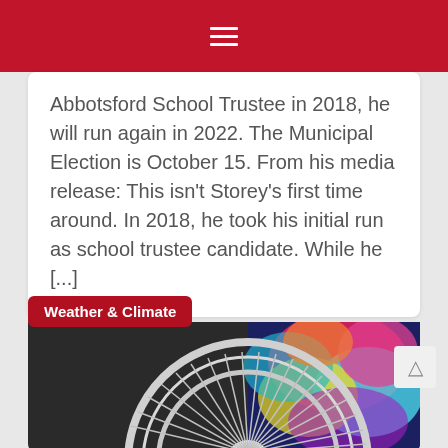Navigation menu (hamburger icon)
Abbotsford School Trustee in 2018, he will run again in 2022. The Municipal Election is October 15. From his media release: This isn't Storey's first time around. In 2018, he took his initial run as school trustee candidate. While he [...]
Weather & Climate
[Figure (photo): Photo of a white electric fan with metallic grille blades against a background with colorful tie-dye artwork]